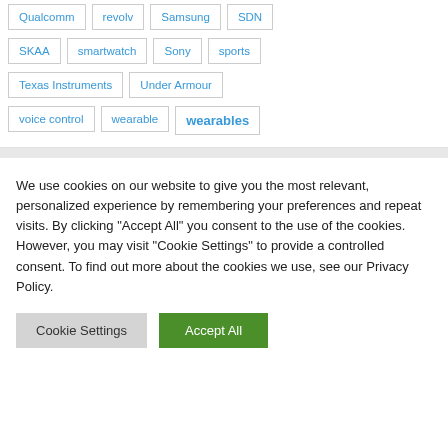Qualcomm
revolv
Samsung
SDN
SKAA
smartwatch
Sony
sports
Texas Instruments
Under Armour
voice control
wearable
wearables
We use cookies on our website to give you the most relevant, personalized experience by remembering your preferences and repeat visits. By clicking "Accept All" you consent to the use of the cookies. However, you may visit "Cookie Settings" to provide a controlled consent. To find out more about the cookies we use, see our Privacy Policy.
Cookie Settings | Accept All